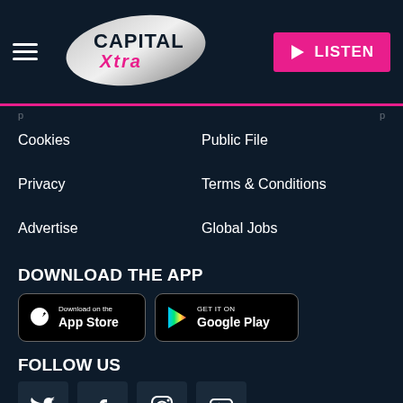[Figure (logo): Capital Xtra radio station logo with hamburger menu and LISTEN button]
Cookies
Public File
Privacy
Terms & Conditions
Advertise
Global Jobs
DOWNLOAD THE APP
[Figure (screenshot): Download on the App Store button]
[Figure (screenshot): GET IT ON Google Play button]
FOLLOW US
[Figure (illustration): Social media icons: Twitter, Facebook, Instagram, YouTube]